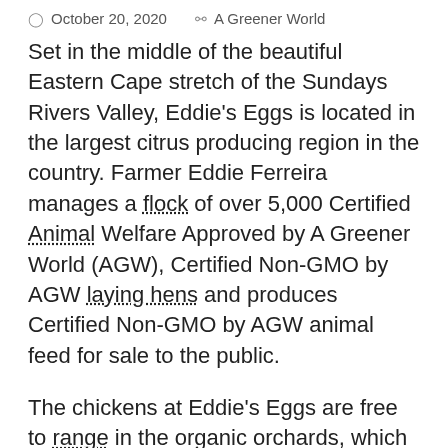October 20, 2020   A Greener World
Set in the middle of the beautiful Eastern Cape stretch of the Sundays Rivers Valley, Eddie's Eggs is located in the largest citrus producing region in the country. Farmer Eddie Ferreira manages a flock of over 5,000 Certified Animal Welfare Approved by A Greener World (AGW), Certified Non-GMO by AGW laying hens and produces Certified Non-GMO by AGW animal feed for sale to the public.
The chickens at Eddie's Eggs are free to range in the organic orchards, which offer shade from intense heat and protection from predators. Scientific research shows that hens